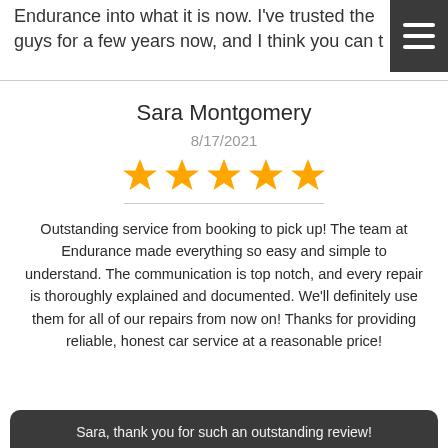Endurance into what it is now. I've trusted the guys for a few years now, and I think you can t…
Sara Montgomery
8/17/2021
[Figure (other): Five orange star rating icons indicating a 5-star review]
Outstanding service from booking to pick up! The team at Endurance made everything so easy and simple to understand. The communication is top notch, and every repair is thoroughly explained and documented. We'll definitely use them for all of our repairs from now on! Thanks for providing reliable, honest car service at a reasonable price!
Sara, thank you for such an outstanding review!